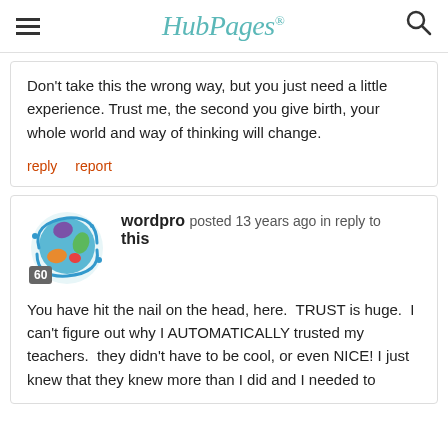HubPages
Don't take this the wrong way, but you just need a little experience. Trust me, the second you give birth, your whole world and way of thinking will change.
reply   report
wordpro posted 13 years ago in reply to this
[Figure (illustration): HubPages globe avatar with colorful continents and blue splash, score badge showing 60]
You have hit the nail on the head, here.  TRUST is huge.  I can't figure out why I AUTOMATICALLY trusted my teachers.  they didn't have to be cool, or even NICE! I just knew that they knew more than I did and I needed to